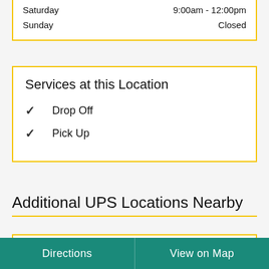| Day | Hours |
| --- | --- |
| Saturday | 9:00am - 12:00pm |
| Sunday | Closed |
Services at this Location
Drop Off
Pick Up
Additional UPS Locations Nearby
The UPS Store®  19.1 mi
Directions | View on Map